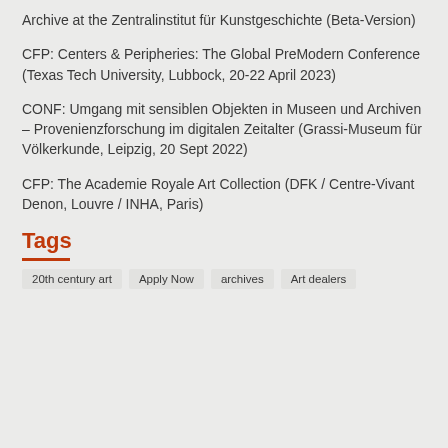Archive at the Zentralinstitut für Kunstgeschichte (Beta-Version)
CFP: Centers & Peripheries: The Global PreModern Conference (Texas Tech University, Lubbock, 20-22 April 2023)
CONF: Umgang mit sensiblen Objekten in Museen und Archiven – Provenienzforschung im digitalen Zeitalter (Grassi-Museum für Völkerkunde, Leipzig, 20 Sept 2022)
CFP: The Academie Royale Art Collection (DFK / Centre-Vivant Denon, Louvre / INHA, Paris)
Tags
20th century art
Apply Now
archives
Art dealers